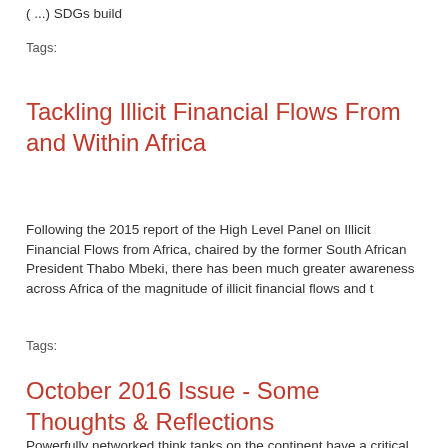(...) SDGs build
Tags:
Tackling Illicit Financial Flows From and Within Africa
Following the 2015 report of the High Level Panel on Illicit Financial Flows from Africa, chaired by the former South African President Thabo Mbeki, there has been much greater awareness across Africa of the magnitude of illicit financial flows and t
Tags:
October 2016 Issue - Some Thoughts & Reflections
Powerfully networked think tanks on the continent have a critical